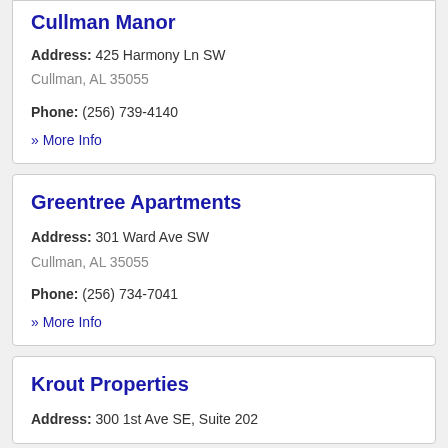Cullman Manor
Address: 425 Harmony Ln SW
Cullman, AL 35055
Phone: (256) 739-4140
» More Info
Greentree Apartments
Address: 301 Ward Ave SW
Cullman, AL 35055
Phone: (256) 734-7041
» More Info
Krout Properties
Address: 300 1st Ave SE, Suite 202